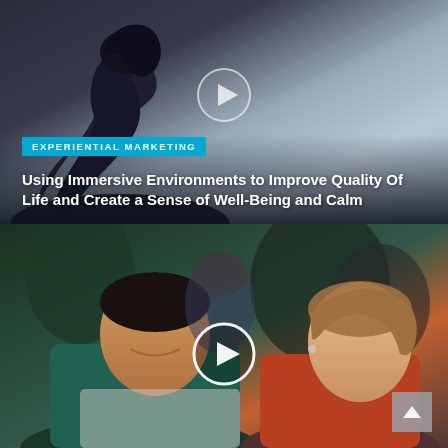[Figure (photo): Black and white photo of a woman seen from behind, looking out at a waterscape or indoor environment. A semi-transparent play button icon is centered over the image. Overlaid text includes a cyan 'EXPERIENTIAL MARKETING' label and a bold white article title.]
EXPERIENTIAL MARKETING
Using Immersive Environments to Improve Quality Of Life and Create a Sense of Well-Being and Calm
[Figure (photo): Color photo of a smiling man and woman in a crowd at an event. A bold white play button icon is centered over the image. A small grey back-to-top button appears in the bottom right corner.]